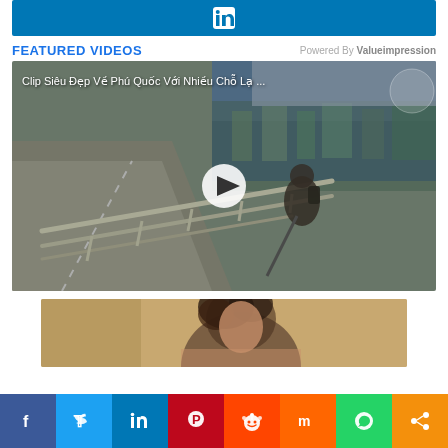[Figure (screenshot): LinkedIn share button bar in blue]
FEATURED VIDEOS
Powered By Valueimpression
[Figure (screenshot): Video thumbnail: Clip Siêu Đẹp Về Phú Quốc Với Nhiều Chỗ Lạ ... - person on bridge with harbor in background, play button overlay]
[Figure (screenshot): Second video thumbnail showing person with curly hair]
[Figure (screenshot): Social media share bar with Facebook, Twitter, LinkedIn, Pinterest, Reddit, Mix, WhatsApp, and share buttons]